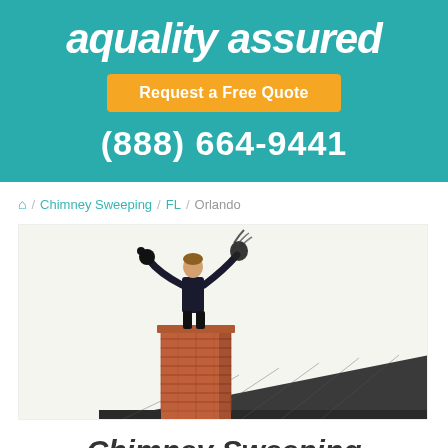[Figure (logo): aquality assured logo in white italic text on teal background]
Request a Free Quote
(888) 664-9441
🏠 / Chimney Sweeping / FL / Orlando
[Figure (photo): Chimney sweep technician standing on a brick chimney on a rooftop, holding cleaning equipment, viewed from below against a bright sky]
Chimney Sweeping